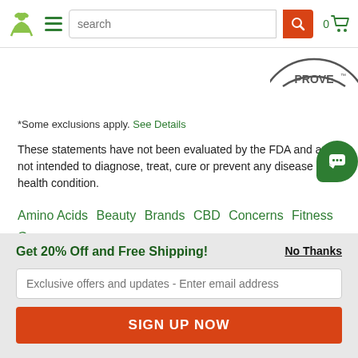[Figure (screenshot): Website header navigation bar with logo, hamburger menu, search bar, search button, and cart icon showing 0 items]
[Figure (logo): Partial circular stamp/seal showing text 'PROVEN' at top right of page]
*Some exclusions apply. See Details
These statements have not been evaluated by the FDA and are not intended to diagnose, treat, cure or prevent any disease or health condition.
Amino Acids  Beauty  Brands  CBD  Concerns  Fitness  Grocery  Home  Minerals  Vitamins
Herbs / A-B • C-F • G-K • L-N • O-R • S-Z
Get 20% Off and Free Shipping!
Exclusive offers and updates - Enter email address
SIGN UP NOW